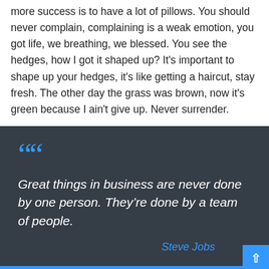more success is to have a lot of pillows. You should never complain, complaining is a weak emotion, you got life, we breathing, we blessed. You see the hedges, how I got it shaped up? It's important to shape up your hedges, it's like getting a haircut, stay fresh. The other day the grass was brown, now it's green because I ain't give up. Never surrender.
Great things in business are never done by one person. They're done by a team of people.
— Steve Jobs